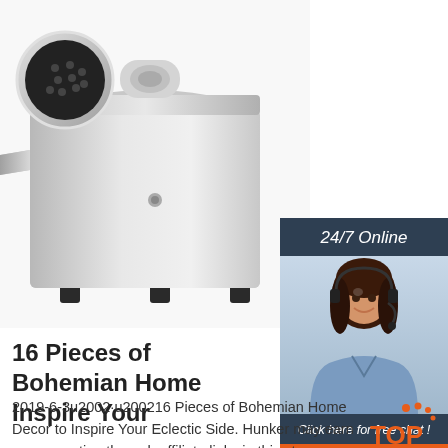[Figure (photo): Silver/stainless steel meat grinder appliance on white background]
[Figure (infographic): 24/7 Online live chat advertisement banner with woman wearing headset. Contains '24/7 Online' header, photo of smiling customer service representative, 'Click here for free chat!' text, and orange QUOTATION button]
16 Pieces of Bohemian Home Inspire Your
2019-6-3u2002·u200216 Pieces of Bohemian Home Decor to Inspire Your Eclectic Side. Hunker may earn compensation through affiliate links in this story. Bohemian decor is about
[Figure (logo): TOP logo with orange dots above the text]